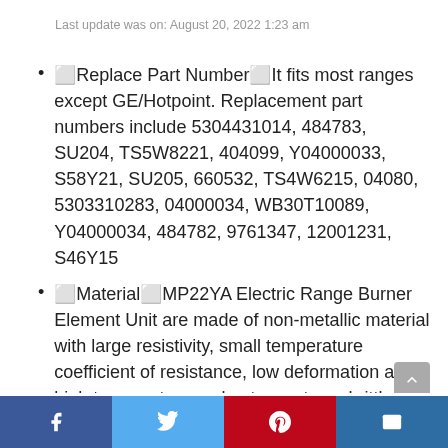Last update was on: August 20, 2022 1:23 am
🔲Replace Part Number🔲It fits most ranges except GE/Hotpoint. Replacement part numbers include 5304431014, 484783, SU204, TS5W8221, 404099, Y04000033, S58Y21, SU205, 660532, TS4W6215, 04080, 5303310283, 04000034, WB30T10089, Y04000034, 484782, 9761347, 12001231, S46Y15
🔲Material🔲MP22YA Electric Range Burner Element Unit are made of non-metallic material with large resistivity, small temperature coefficient of resistance, low deformation at high temperature and not easy to embrittle. Tested by manufacturer to match and/or exceed